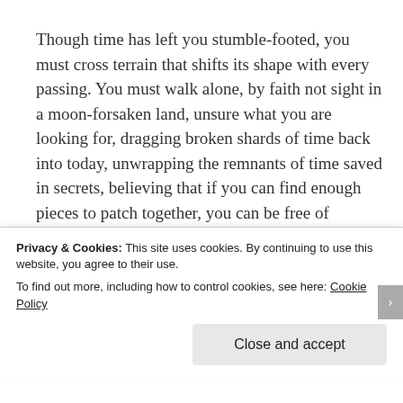Though time has left you stumble-footed, you must cross terrain that shifts its shape with every passing. You must walk alone, by faith not sight in a moon-forsaken land, unsure what you are looking for, dragging broken shards of time back into today, unwrapping the remnants of time saved in secrets, believing that if you can find enough pieces to patch together, you can be free of
Privacy & Cookies: This site uses cookies. By continuing to use this website, you agree to their use.
To find out more, including how to control cookies, see here: Cookie Policy
Close and accept